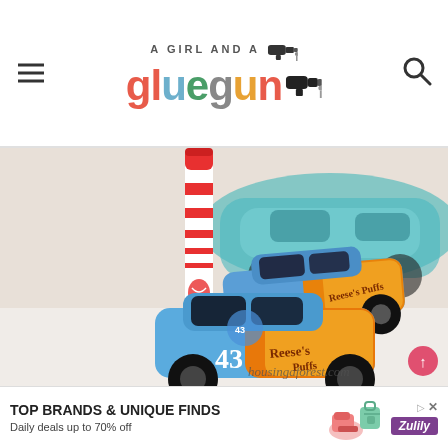A Girl and a Glue Gun — website header with logo, hamburger menu, and search icon
[Figure (photo): Close-up photo of toy NASCAR die-cast cars (number 43, blue and orange Reese's Puffs livery) on a white surface, with a red and white marker/crayon in the foreground and a teal toy car blurred in the background. Watermark reads 'housingaforest.com']
housingaforest.com
TOP BRANDS & UNIQUE FINDS
Daily deals up to 70% off
[Figure (logo): Zulily advertisement banner with teal handbag image, shoe image, triangular ad icon, dismiss X, and Zulily logo in purple]